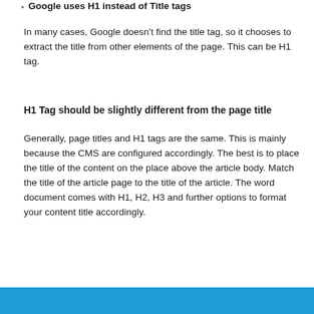Google uses H1 instead of Title tags
In many cases, Google doesn't find the title tag, so it chooses to extract the title from other elements of the page. This can be H1 tag.
H1 Tag should be slightly different from the page title
Generally, page titles and H1 tags are the same. This is mainly because the CMS are configured accordingly. The best is to place the title of the content on the place above the article body. Match the title of the article page to the title of the article. The word document comes with H1, H2, H3 and further options to format your content title accordingly.